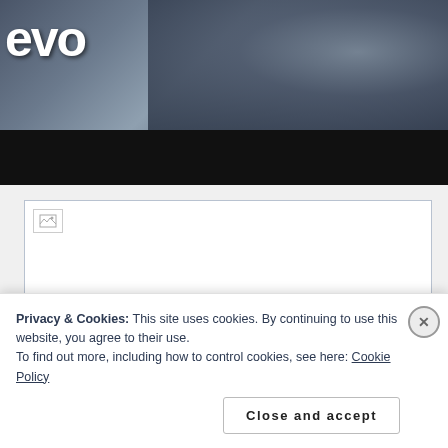[Figure (screenshot): Top portion of a webpage showing a dark video thumbnail with 'evo' logo text in white on the left, a musician with drums visible, and a black letterbox bar below]
[Figure (screenshot): A broken/missing image placeholder in a bordered white rectangle area (advertisement or embedded content area)]
Privacy & Cookies: This site uses cookies. By continuing to use this website, you agree to their use.
To find out more, including how to control cookies, see here: Cookie Policy
Close and accept